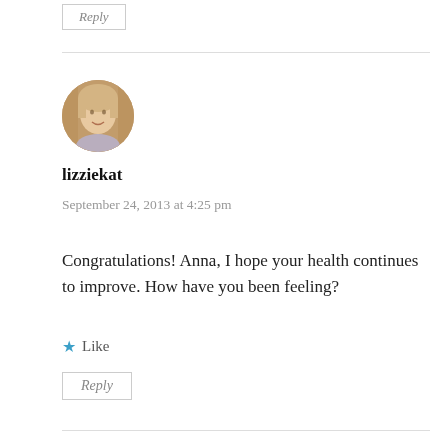Reply
[Figure (photo): Circular avatar photo of a woman with blonde hair]
lizziekat
September 24, 2013 at 4:25 pm
Congratulations! Anna, I hope your health continues to improve. How have you been feeling?
Like
Reply